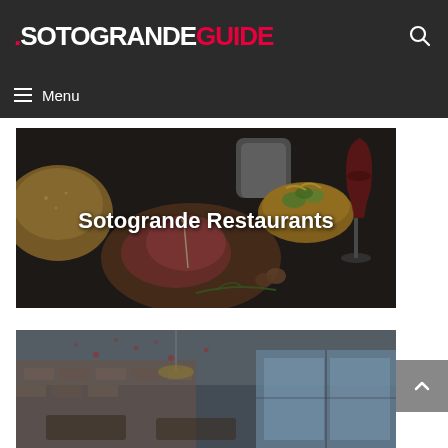.SOTOGRANDEGUIDE
Sotogrande Restaurants
[Figure (photo): Dark overhead shot of Spanish tapas food items: bread, cured meats on wooden board with toothpick, bowl of olives with yellow peppers, glass of red wine, nuts on dark stone surface]
[Figure (photo): Interior of a modern restaurant with warm lighting, decorative ceiling installation, large windows, and restaurant furniture]